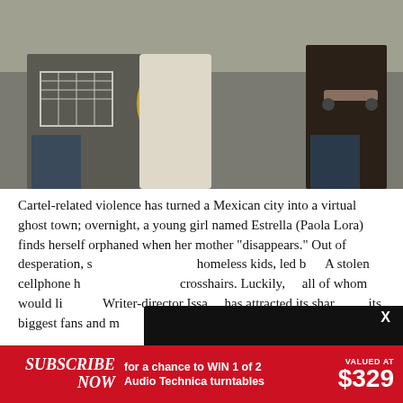[Figure (photo): Two people, one pushing a shopping cart with belongings and a bag, another holding a skateboard, in an urban setting.]
Cartel-related violence has turned a Mexican city into a virtual ghost town; overnight, a young girl named Estrella (Paola Lora) finds herself orphaned when her mother "disappears." Out of desperation, s[he joins a group of] homeless kids, led b[y...] A stolen cellphone h[as put them in the] crosshairs. Luckily, [... all of whom would li[ke to...] Writer-director Issa [...] has attracted its shar[e of...] its biggest fans and m[ore...]
[Figure (screenshot): Browser not compatible overlay with message: 'You may need to update your browser' and Report ID link: 1gc5j51lg2n52k7ta21]
SUBSCRIBE NOW for a chance to WIN 1 of 2 Audio Technica turntables VALUED AT $329